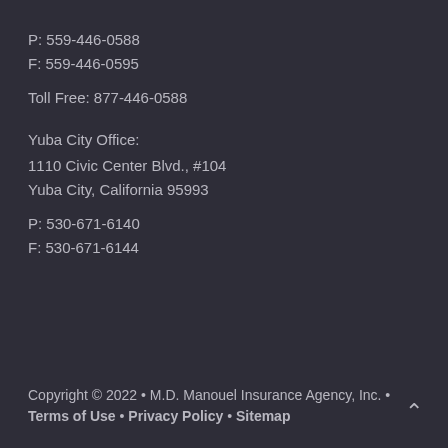P: 559-446-0588
F: 559-446-0595
Toll Free: 877-446-0588
Yuba City Office:
1110 Civic Center Blvd., #104
Yuba City, California 95993
P: 530-671-6140
F: 530-671-6144
Copyright © 2022 • M.D. Manouel Insurance Agency, Inc. • Terms of Use • Privacy Policy • Sitemap